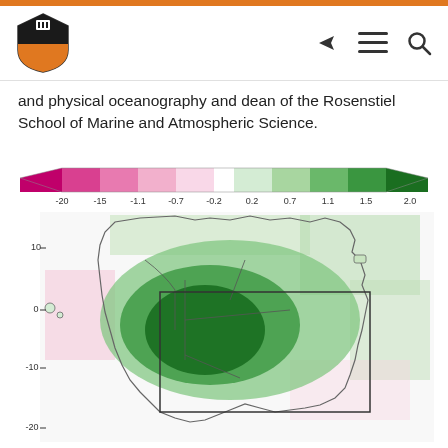Princeton University navigation header with logo and menu icons
and physical oceanography and dean of the Rosenstiel School of Marine and Atmospheric Science.
[Figure (map): Color-scale map of South America showing anomaly values. A diverging color legend (pink/magenta for negative values -2.0 to -0.2, white for near-zero, light to dark green for positive values 0.2 to 2.0) sits above the map. The map shows latitude labels 10, 0, -10, -20 on the y-axis. A rectangular box is drawn over the central Amazon region. The central Amazon basin shows the darkest green (highest positive anomaly ~1.5–2.0), while coastal areas show light pink (slightly negative anomaly).]